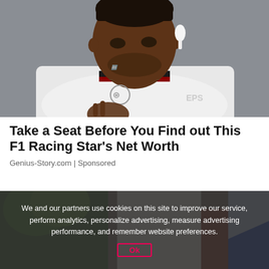[Figure (photo): A man wearing a white Mercedes F1 racing jacket and wireless earbuds, making a hand gesture, with a gray background.]
Take a Seat Before You Find out This F1 Racing Star's Net Worth
Genius-Story.com | Sponsored
[Figure (photo): A street scene showing a building with a red door and green trees, with a blue and white element on the right.]
We and our partners use cookies on this site to improve our service, perform analytics, personalize advertising, measure advertising performance, and remember website preferences.
Ok